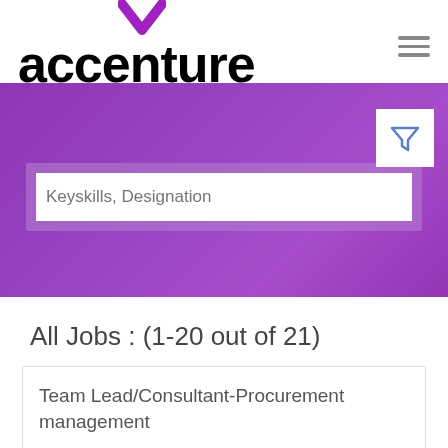[Figure (logo): Accenture logo with purple chevron and bold black lowercase text]
[Figure (screenshot): Purple banner with search box and filter button]
All Jobs : (1-20 out of 21)
Team Lead/Consultant-Procurement management